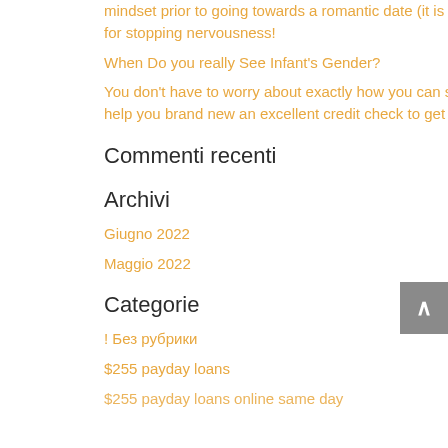mindset prior to going towards a romantic date (it is critical for stopping nervousness!
When Do you really See Infant's Gender?
You don't have to worry about exactly how you can score to help you brand new an excellent credit check to get help
Commenti recenti
Archivi
Giugno 2022
Maggio 2022
Categorie
! Без рубрики
$255 payday loans
$255 payday loans online same day